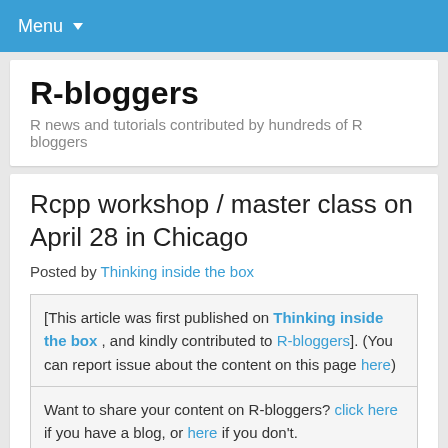Menu ▾
R-bloggers
R news and tutorials contributed by hundreds of R bloggers
Rcpp workshop / master class on April 28 in Chicago
Posted by Thinking inside the box
[This article was first published on Thinking inside the box , and kindly contributed to R-bloggers]. (You can report issue about the content on this page here)
Want to share your content on R-bloggers? click here if you have a blog, or here if you don't.
[Figure (other): Facebook and Twitter social share buttons]